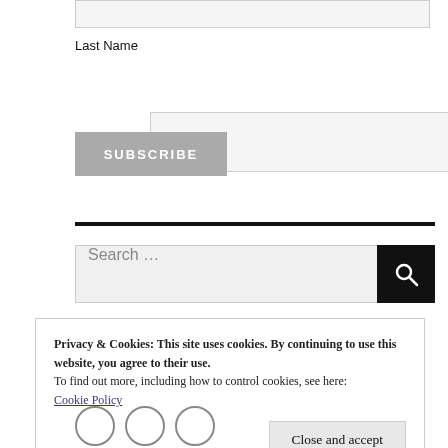Last Name
SUBSCRIBE
Search ...
Privacy & Cookies: This site uses cookies. By continuing to use this website, you agree to their use.
To find out more, including how to control cookies, see here:
Cookie Policy
Close and accept